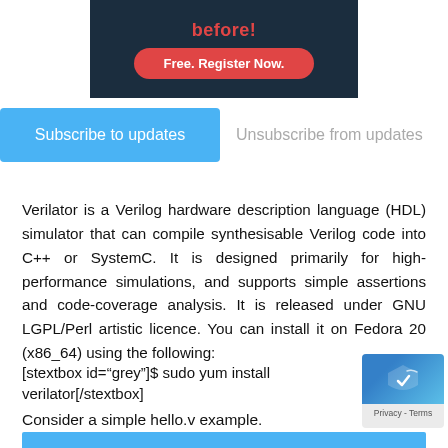[Figure (screenshot): Dark banner with red bold text 'before!' and a red rounded button 'Free. Register Now.']
[Figure (screenshot): Subscribe/Unsubscribe buttons bar: blue 'Subscribe to updates' button and grey 'Unsubscribe from updates' text]
Verilator is a Verilog hardware description language (HDL) simulator that can compile synthesisable Verilog code into C++ or SystemC. It is designed primarily for high-performance simulations, and supports simple assertions and code-coverage analysis. It is released under GNU LGPL/Perl artistic licence. You can install it on Fedora 20 (x86_64) using the following:
[stextbox id="grey"]$ sudo yum install verilator[/stextbox]
Consider a simple hello.v example.